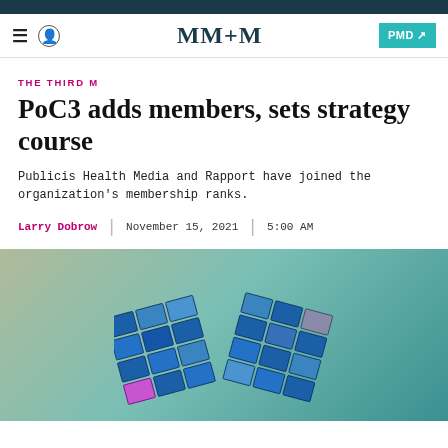MM+M | PMD
THE THIRD M
PoC3 adds members, sets strategy course
Publicis Health Media and Rapport have joined the organization's membership ranks.
Larry Dobrow | November 15, 2021 | 5:00 AM
[Figure (photo): Stylized image of stacked TV/screen monitors arranged in a V or wave shape against a teal/green gradient background]